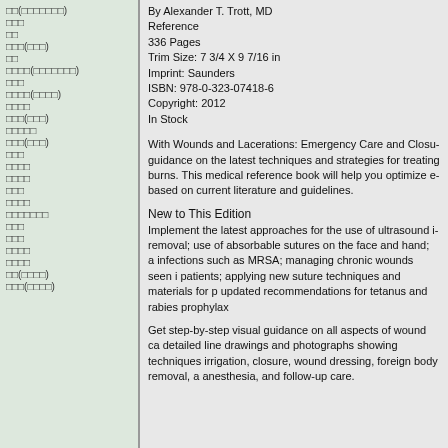□□(□□□□□□□)
□□□
□□
□□□(□□□)
□□
□□□□(□□□□□□□)
□□□
□□□□(□□□□)
□□□□
□□□(□□□)
□□□□□
□□□(□□□)
□□□
□□□□
□□□□
□□□
□□□□
□□□□□□□
□□□
□□□
□□□□
□□□□
□□(□□□□)
□□□(□□□□)
By Alexander T. Trott, MD
Reference
336 Pages
Trim Size: 7 3/4 X 9 7/16 in
Imprint: Saunders
ISBN: 978-0-323-07418-6
Copyright: 2012
In Stock
With Wounds and Lacerations: Emergency Care and Closure, get guidance on the latest techniques and strategies for treating burns. This medical reference book will help you optimize e... based on current literature and guidelines.
New to This Edition
Implement the latest approaches for the use of ultrasound i... removal; use of absorbable sutures on the face and hand; a... infections such as MRSA; managing chronic wounds seen i... patients; applying new suture techniques and materials for p... updated recommendations for tetanus and rabies prophylax...
Get step-by-step visual guidance on all aspects of wound ca... detailed line drawings and photographs showing techniques... irrigation, closure, wound dressing, foreign body removal, a... anesthesia, and follow-up care.